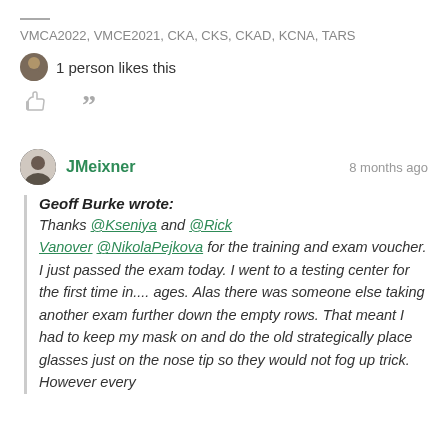VMCA2022, VMCE2021, CKA, CKS, CKAD, KCNA, TARS
1 person likes this
JMeixner  8 months ago
Geoff Burke wrote: Thanks @Kseniya and @Rick Vanover @NikolaPejkova for the training and exam voucher. I just passed the exam today. I went to a testing center for the first time in.... ages. Alas there was someone else taking another exam further down the empty rows. That meant I had to keep my mask on and do the old strategically place glasses just on the nose tip so they would not fog up trick. However every